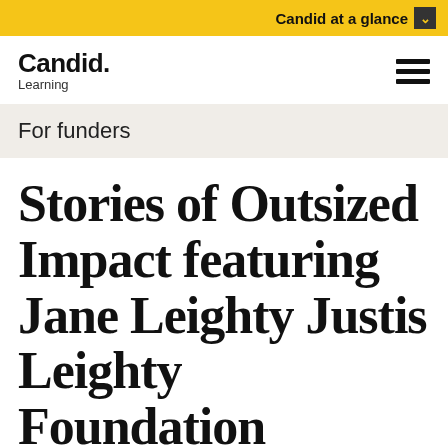Candid at a glance
Candid.
Learning
For funders
Stories of Outsized Impact featuring Jane Leighty Justis Leighty Foundation
April 6, 2016, Washington, D.C.